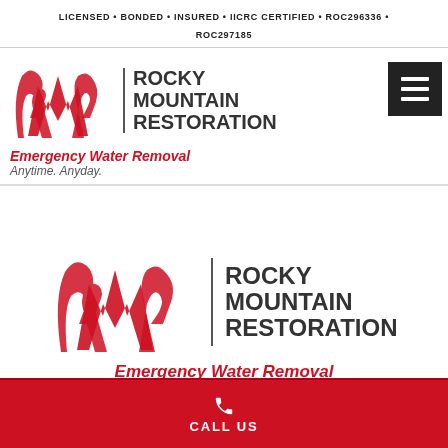LICENSED • BONDED • INSURED • IICRC CERTIFIED • ROC296336 • ROC297185
[Figure (logo): Rocky Mountain Restoration logo with stylized RMR monogram in red and black, vertical divider, bold company name, and taglines: Emergency Water Removal, Anytime. Anyday.]
[Figure (logo): Second instance of Rocky Mountain Restoration logo, larger, with same RMR monogram and company name text]
Emergency Water Removal
CALL US